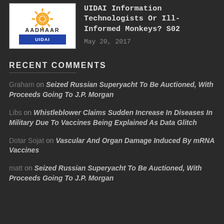[Figure (logo): UIDAI / Aadhaar logo with sun symbol and UIDAI branding]
UIDAI Information Technologists Or Ill-Informed Monkeys? S02
May 20, 2017
RECENT COMMENTS
Graham on Seized Russian Superyacht To Be Auctioned, With Proceeds Going To J.P. Morgan
Libs on Whistleblower Claims Sudden Increase In Diseases In Military Due To Vaccines Being Explained As Data Glitch
Dotar Sojat on Vascular And Organ Damage Induced By mRNA Vaccines
matt on Seized Russian Superyacht To Be Auctioned, With Proceeds Going To J.P. Morgan